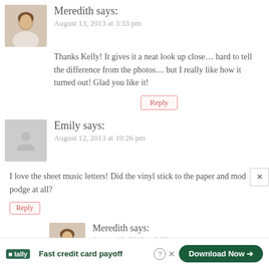[Figure (photo): Avatar photo of Meredith, a woman with brown hair]
Meredith says:
August 13, 2013 at 3:33 pm
Thanks Kelly! It gives it a neat look up close… hard to tell the difference from the photos… but I really like how it turned out! Glad you like it!
Reply
[Figure (illustration): Generic placeholder avatar icon (gray silhouette of a person)]
Emily says:
August 12, 2013 at 10:26 pm
I love the sheet music letters! Did the vinyl stick to the paper and mod podge at all?
Reply
[Figure (photo): Avatar photo of Meredith, a woman with brown hair]
Meredith says:
August 13, 2013 at 3:32 pm
Thanks Emily! It was… except … mod
Fast credit card payoff
Download Now →